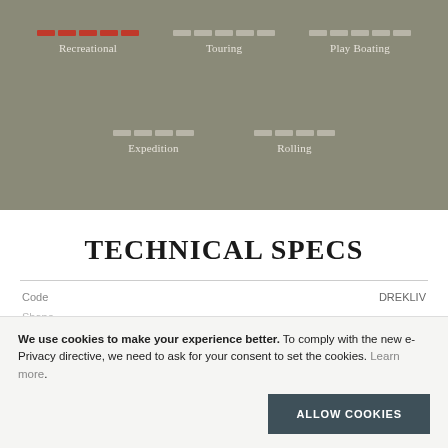[Figure (infographic): Kayak suitability rating bars for five categories: Recreational (filled/red, high rating), Touring (grey, medium-low), Play Boating (grey, medium-low), Expedition (grey, medium-low), Rolling (grey, medium-low). Shown as segmented bar indicators on a khaki/olive green background.]
TECHNICAL SPECS
| Code | DREKLIV |
| --- | --- |
| Shape |  |
We use cookies to make your experience better. To comply with the new e-Privacy directive, we need to ask for your consent to set the cookies. Learn more.